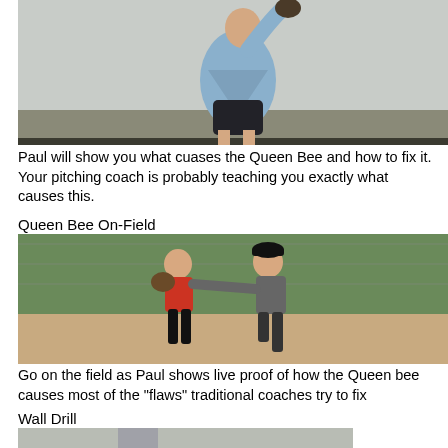[Figure (photo): A baseball pitcher in a gray shirt and dark shorts winding up to throw, indoors against a gray wall background.]
Paul will show you what cuases the Queen Bee and how to fix it. Your pitching coach is probably teaching you exactly what causes this.
Queen Bee On-Field
[Figure (photo): Two baseball players on a dirt field with chain-link fence in background; one in red shirt and one in gray shirt appear to be doing a pitching drill.]
Go on the field as Paul shows live proof of how the Queen bee causes most of the "flaws" traditional coaches try to fix
Wall Drill
[Figure (photo): A baseball player in a gray shirt and black cap standing close to a wall, appearing to do a wall drill exercise.]